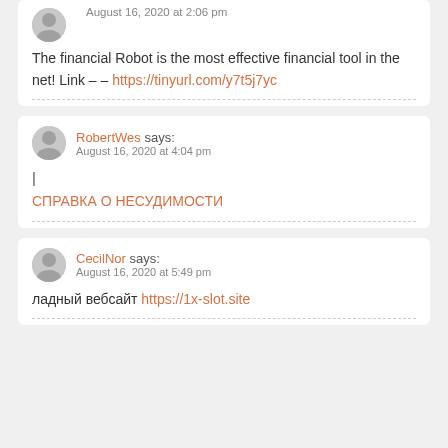The financial Robot is the most effective financial tool in the net! Link – – https://tinyurl.com/y7t5j7yc
RobertWes says: August 16, 2020 at 4:04 pm
| СПРАВКА О НЕСУДИМОСТИ
CecilNor says: August 16, 2020 at 5:49 pm
ладный вебсайт https://1x-slot.site